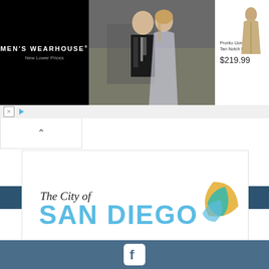[Figure (screenshot): Men's Wearhouse advertisement banner showing a couple in formal wear and a tan suit with price $219.99]
MEN'S WEARHOUSE®
New Lower Prices
Pronto Uomo
Tan Notch L...
$219.99
[Figure (screenshot): Ad controls bar with X close button and play button, and a collapse arrow button]
[Figure (logo): The City of San Diego logo with stylized swirl graphic in blue, teal, and yellow/gold]
[Figure (logo): Facebook icon in white on dark blue/slate bar at bottom]